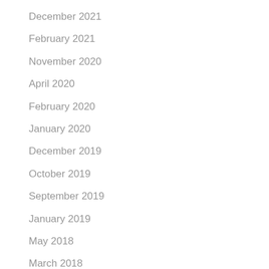December 2021
February 2021
November 2020
April 2020
February 2020
January 2020
December 2019
October 2019
September 2019
January 2019
May 2018
March 2018
February 2018
January 2018